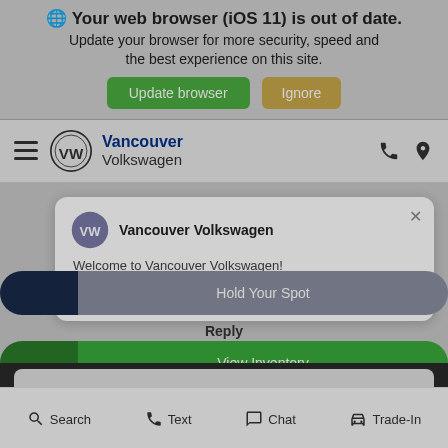Your web browser (iOS 11) is out of date.
Update your browser for more security, speed and the best experience on this site.
Update browser | Ignore
[Figure (screenshot): Vancouver Volkswagen dealership website navigation bar with VW logo, hamburger menu, phone and location icons]
Vancouver Volkswagen
Welcome to Vancouver Volkswagen! How can we help you today?
Hold Your Spot
Reply
View Inventory
[Figure (photo): Partial view of a dark car silhouette]
Search  Text  Chat  Trade-In